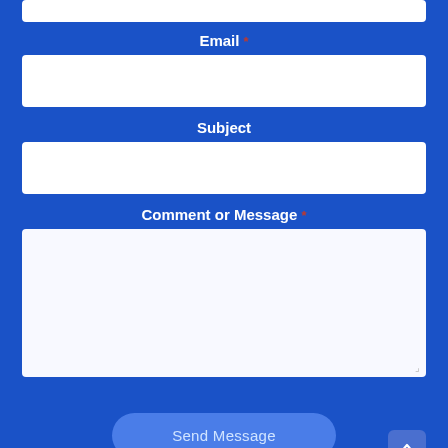Email *
[Figure (screenshot): Empty white input field for Email]
Subject
[Figure (screenshot): Empty white input field for Subject]
Comment or Message *
[Figure (screenshot): Empty white textarea for Comment or Message]
Send Message